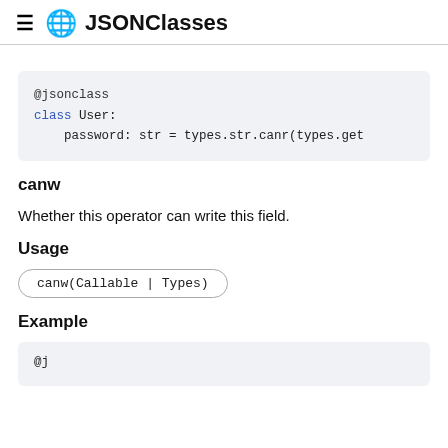JSONClasses
[Figure (screenshot): Code block showing @jsonclass decorator and class User with password field assignment using types.str.canr(types.get]
canw
Whether this operator can write this field.
Usage
canw(Callable | Types)
Example
[Figure (screenshot): Code block beginning with @jsonclass decorator (partial view)]